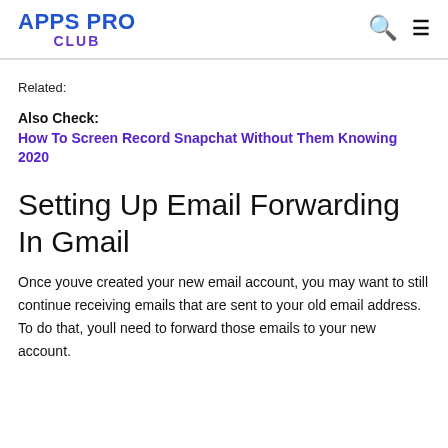APPS PRO CLUB
Related:
Also Check:
How To Screen Record Snapchat Without Them Knowing 2020
Setting Up Email Forwarding In Gmail
Once youve created your new email account, you may want to still continue receiving emails that are sent to your old email address. To do that, youll need to forward those emails to your new account.